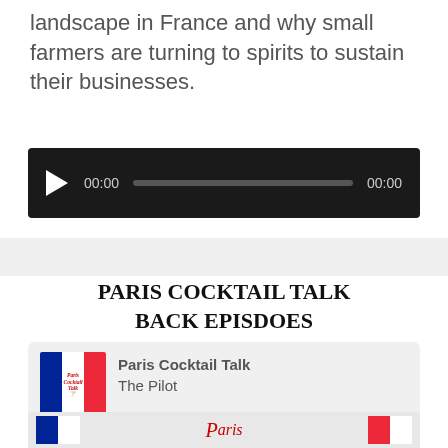landscape in France and why small farmers are turning to spirits to sustain their businesses.
[Figure (screenshot): Audio player widget with dark background, play button, 00:00 timestamp, progress bar, and 00:00 end timestamp]
PARIS COCKTAIL TALK BACK EPISDOES
[Figure (screenshot): Podcast player card for Paris Cocktail Talk - The Pilot episode, showing French flag logo, play button, progress bar, playback controls (10 back, 1x speed, 30 forward), time 00:00 / 33:05, SUBSCRIBE and SHARE buttons]
[Figure (screenshot): Bottom partial preview of another podcast card with French flag elements and Paris script text]